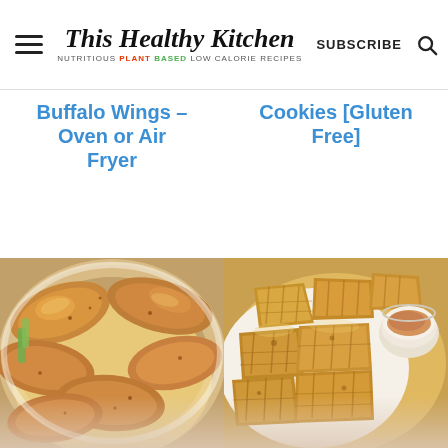This Healthy Kitchen — NUTRITIOUS PLANT BASED LOW CALORIE RECIPES — SUBSCRIBE
Buffalo Wings – Oven or Air Fryer
Cookies [Gluten Free]
[Figure (photo): Close-up photo of golden-brown seasoned chicken wings in a white bowl]
[Figure (photo): Close-up photo of crispy golden-brown pineapple chunks on a white plate with a dipping sauce cup]